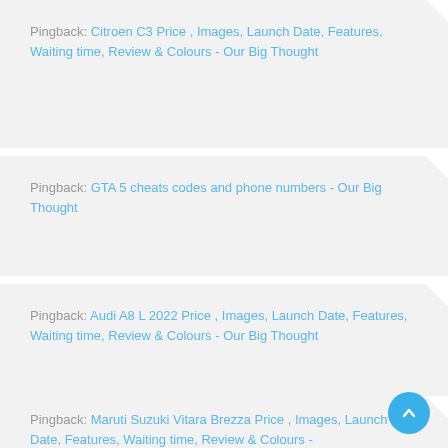Pingback: Citroen C3 Price , Images, Launch Date, Features, Waiting time, Review & Colours - Our Big Thought
Pingback: GTA 5 cheats codes and phone numbers - Our Big Thought
Pingback: Audi A8 L 2022 Price , Images, Launch Date, Features, Waiting time, Review & Colours - Our Big Thought
Pingback: Maruti Suzuki Vitara Brezza Price , Images, Launch Date, Features, Waiting time, Review & Colours -